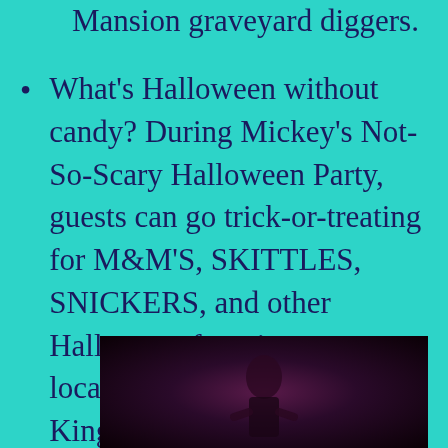Mansion graveyard diggers.
What's Halloween without candy? During Mickey's Not-So-Scary Halloween Party, guests can go trick-or-treating for M&M'S, SKITTLES, SNICKERS, and other Halloween favorites at locations throughout Magic Kingdom Park. And new this year, guests will also receive a reusable trick-or-treat bag featuring a keepsake 50th Anniversary celebration and Halloween design.
[Figure (photo): Dark photograph, partially visible at bottom of page, showing a dimly lit scene with pink/purple tones]